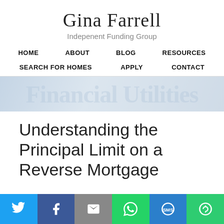Gina Farrell
Indepenent Funding Group
HOME   ABOUT   BLOG   RESOURCES
SEARCH FOR HOMES   APPLY   CONTACT
Understanding the Principal Limit on a Reverse Mortgage